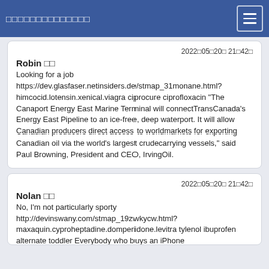□□□□□□□□□□□□□□
2022□05□20□ 21□42□
Robin □□
Looking for a job https://dev.glasfaser.netinsiders.de/stmap_31monane.html?himcocid.lotensin.xenical.viagra ciprocure ciprofloxacin "The Canaport Energy East Marine Terminal will connectTransCanada's Energy East Pipeline to an ice-free, deep waterport. It will allow Canadian producers direct access to worldmarkets for exporting Canadian oil via the world's largest crudecarrying vessels," said Paul Browning, President and CEO, IrvingOil.
2022□05□20□ 21□42□
Nolan □□
No, I'm not particularly sporty http://devinswany.com/stmap_19zwkycw.html?maxaquin.cyproheptadine.domperidone.levitra tylenol ibuprofen alternate toddler Everybody who buys an iPhone